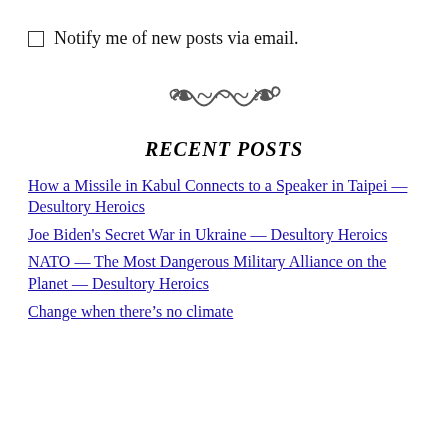Notify me of new posts via email.
[Figure (illustration): Decorative swirl/flourish divider]
RECENT POSTS
How a Missile in Kabul Connects to a Speaker in Taipei — Desultory Heroics
Joe Biden's Secret War in Ukraine — Desultory Heroics
NATO — The Most Dangerous Military Alliance on the Planet — Desultory Heroics
Change when there's no climate